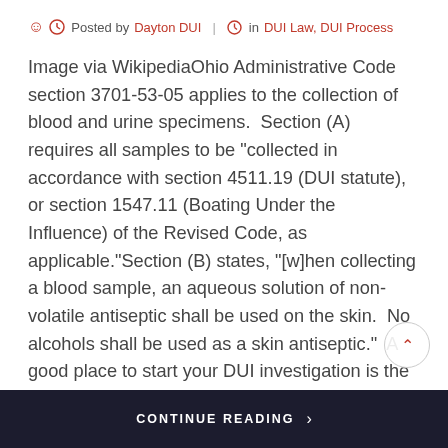Posted by Dayton DUI  |  in DUI Law, DUI Process
Image via WikipediaOhio Administrative Code section 3701-53-05 applies to the collection of blood and urine specimens.  Section (A) requires all samples to be "collected in accordance with section 4511.19 (DUI statute), or section 1547.11 (Boating Under the Influence) of the Revised Code, as applicable."Section (B) states, "[w]hen collecting a blood sample, an aqueous solution of non-volatile antiseptic shall be used on the skin.  No alcohols shall be used as a skin antiseptic."  A good place to start your DUI investigation is the first blood draw.  We have garnered the help of a legal-nurse-practitioner to find instances where wounds could have...
CONTINUE READING  ›